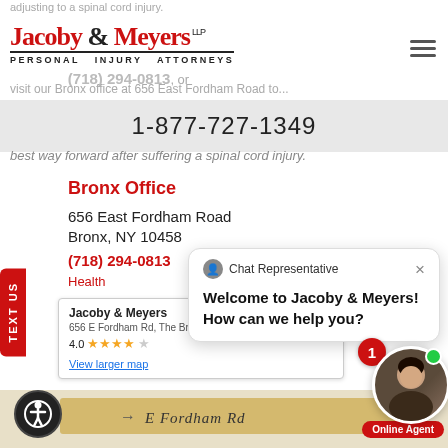adjusting to a spinal cord injury.
[Figure (logo): Jacoby & Meyers LLP Personal Injury Attorneys logo in red and black]
(718) 294-0813, or
1-877-727-1349
best way forward after suffering a spinal cord injury.
Bronx Office
656 East Fordham Road
Bronx, NY 10458
(718) 294-0813
Health
Jacoby & Meyers
656 E Fordham Rd, The Bronx, NY 10458
4.0 ★★★★☆
View larger map
E Fordham Rd
Chat Representative
Welcome to Jacoby & Meyers! How can we help you?
Online Agent